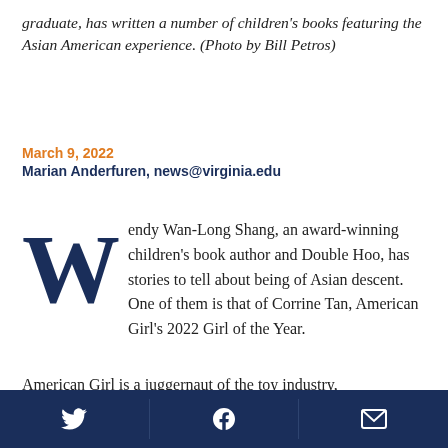graduate, has written a number of children's books featuring the Asian American experience. (Photo by Bill Petros)
March 9, 2022
Marian Anderfuren, news@virginia.edu
Wendy Wan-Long Shang, an award-winning children's book author and Double Hoo, has stories to tell about being of Asian descent. One of them is that of Corrine Tan, American Girl's 2022 Girl of the Year.
American Girl is a juggernaut of the toy industry,
Twitter | Facebook | Email